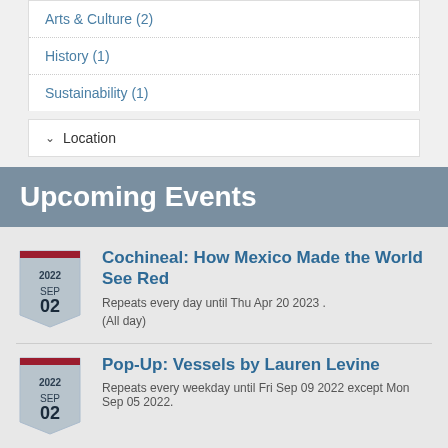Arts & Culture (2)
History (1)
Sustainability (1)
Location
Upcoming Events
Cochineal: How Mexico Made the World See Red
Repeats every day until Thu Apr 20 2023 .
(All day)
Pop-Up: Vessels by Lauren Levine
Repeats every weekday until Fri Sep 09 2022 except Mon Sep 05 2022.